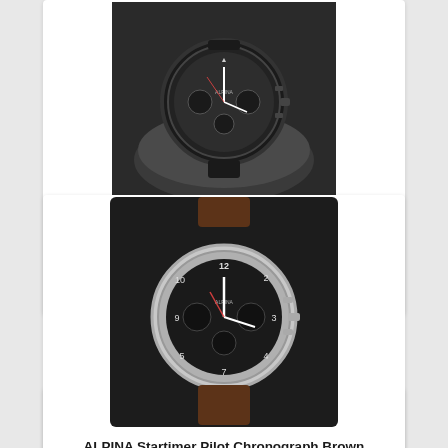[Figure (photo): ALPINA Startimer Pilot Chronograph Blackstar watch on a dark cushion pillow, black PVD case with dark dial, displayed against black background]
ALPINA Startimer Pilot Chronograph Blackstar, Automatik, PVD, Limited Edition
[Figure (photo): ALPINA Startimer Pilot Chronograph watch with dark dial and brown leather strap AL-725GR4S6, on white background]
ALPINA Startimer Pilot Chronograph Brown Leather AL-725GR4S6
[Figure (photo): Partial view of another ALPINA watch with brown leather strap, cropped at bottom of page]